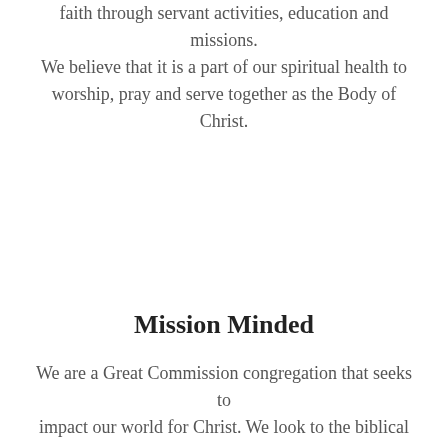faith through servant activities, education and missions. We believe that it is a part of our spiritual health to worship, pray and serve together as the Body of Christ.
Mission Minded
We are a Great Commission congregation that seeks to impact our world for Christ. We look to the biblical